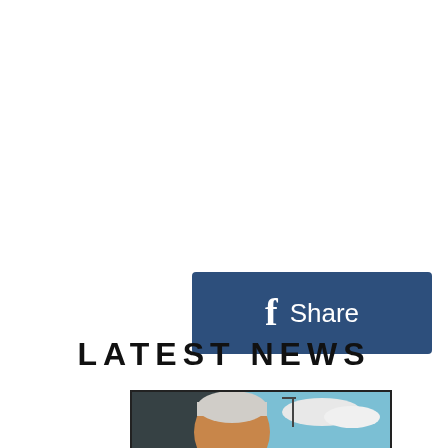[Figure (other): Facebook Share button: dark blue rounded rectangle with white Facebook 'f' icon and 'Share' text]
[Figure (other): Twitter Tweet button: light blue rounded rectangle with white Twitter bird icon and 'Tweet' text]
LATEST NEWS
[Figure (photo): Photo of an older man with grey/white hair outdoors, with trees and sky visible in the background]